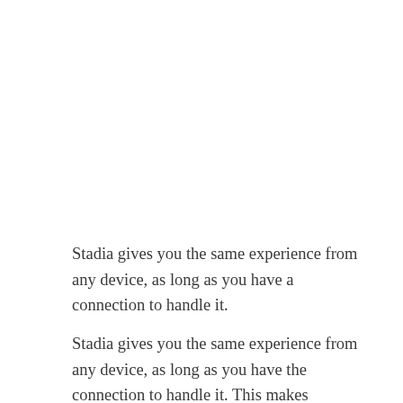Stadia gives you the same experience from any device, as long as you have a connection to handle it.
Stadia gives you the same experience from any device, as long as you have the connection to handle it. This makes Google's phone support tool more